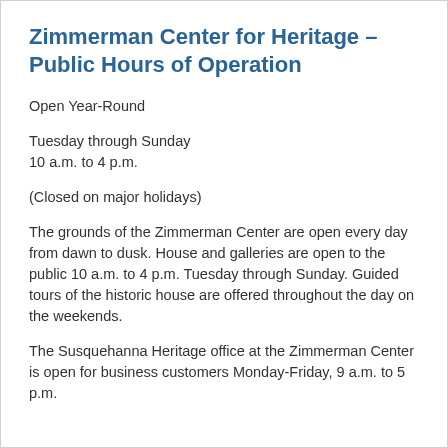Zimmerman Center for Heritage – Public Hours of Operation
Open Year-Round
Tuesday through Sunday
10 a.m. to 4 p.m.
(Closed on major holidays)
The grounds of the Zimmerman Center are open every day from dawn to dusk. House and galleries are open to the public 10 a.m. to 4 p.m. Tuesday through Sunday. Guided tours of the historic house are offered throughout the day on the weekends.
The Susquehanna Heritage office at the Zimmerman Center is open for business customers Monday-Friday, 9 a.m. to 5 p.m.